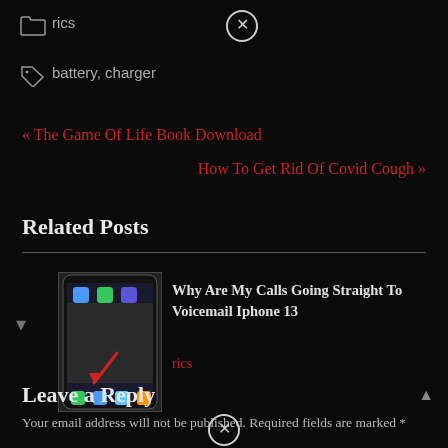rics
battery, charger
« The Game Of Life Book Download
How To Get Rid Of Covid Cough »
Related Posts
[Figure (photo): Thumbnail image of a smartphone home screen]
Why Are My Calls Going Straight To Voicemail Iphone 13
rics
Leave a Reply
Your email address will not be published. Required fields are marked *